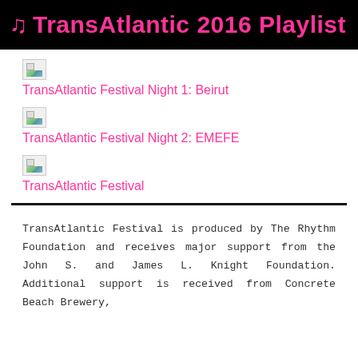♪ TransAtlantic 2016 Playlist
TransAtlantic Festival Night 1: Beirut
TransAtlantic Festival Night 2: EMEFE
TransAtlantic Festival
TransAtlantic Festival is produced by The Rhythm Foundation and receives major support from the John S. and James L. Knight Foundation. Additional support is received from Concrete Beach Brewery,